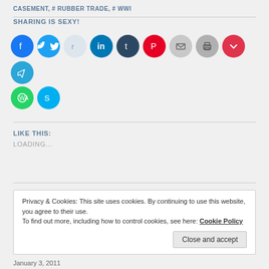CASEMENT, # RUBBER TRADE, # WWI
SHARING IS SEXY!
[Figure (other): Row of social media sharing icon circles: Facebook, Twitter, Reddit, LinkedIn, Tumblr, Pinterest, Email, Print, Pocket, Telegram, WhatsApp, Skype]
LIKE THIS:
LOADING...
Privacy & Cookies: This site uses cookies. By continuing to use this website, you agree to their use.
To find out more, including how to control cookies, see here: Cookie Policy
Close and accept
January 3, 2011